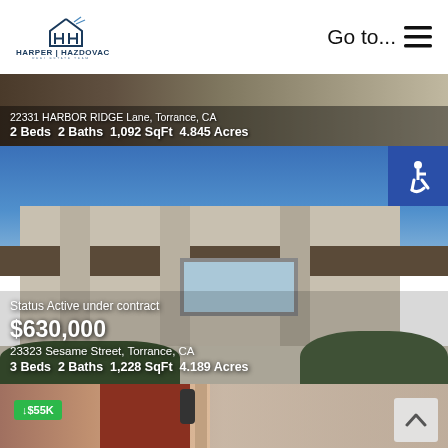[Figure (logo): Harper Hazdovac Real Estate Team logo with house/H icon]
Go to...  ☰
22331 HARBOR RIDGE Lane, Torrance, CA
2 Beds  2 Baths  1,092 SqFt  4.845 Acres
[Figure (photo): Exterior photo of a stucco residential property with accessibility badge]
Status Active under contract
$630,000
23323 Sesame Street, Torrance, CA
3 Beds  2 Baths  1,228 SqFt  4.189 Acres
[Figure (photo): Exterior photo of a residential property with red door, partially visible. Price drop badge showing ↓$55K in green.]